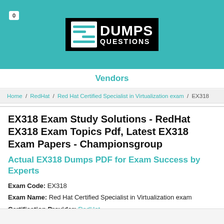0 | DUMPS QUESTIONS
Vendors
Home / RedHat / Red Hat Certified Specialist in Virtualization exam / EX318
EX318 Exam Study Solutions - RedHat EX318 Exam Topics Pdf, Latest EX318 Exam Papers - Championsgroup
Actual EX318 Dumps PDF for Exam Success by Experts
Exam Code: EX318
Exam Name: Red Hat Certified Specialist in Virtualization exam
Certification Provider: RedHat
Related Certification: Red Hat Certified Specialist in Virtualization exam.